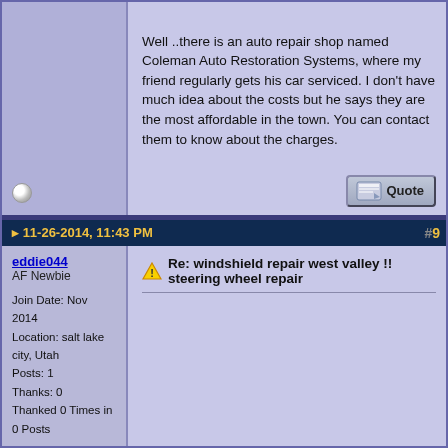Well ..there is an auto repair shop named Coleman Auto Restoration Systems, where my friend regularly gets his car serviced. I don't have much idea about the costs but he says they are the most affordable in the town. You can contact them to know about the charges.
11-26-2014, 11:43 PM
#9
eddie044
AF Newbie
Join Date: Nov 2014
Location: salt lake city, Utah
Posts: 1
Thanks: 0
Thanked 0 Times in 0 Posts
Re: windshield repair west valley !! steering wheel repair